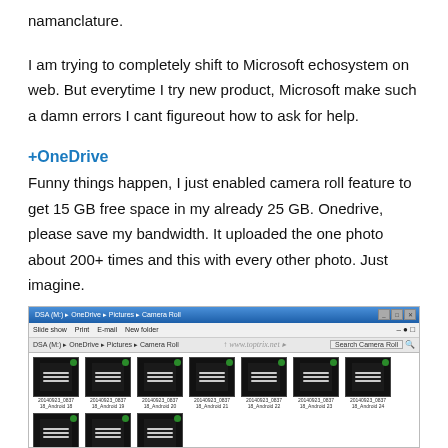namanclature.
I am trying to completely shift to Microsoft echosystem on web. But everytime I try new product, Microsoft make such a damn errors I cant figureout how to ask for help.
+OneDrive
Funny things happen, I just enabled camera roll feature to get 15 GB free space in my already 25 GB. Onedrive, please save my bandwidth. It uploaded the one photo about 200+ times and this with every other photo. Just imagine.
[Figure (screenshot): Windows Explorer window showing OneDrive Camera Roll folder with many duplicate photo thumbnails, each labeled with filenames like 20140923_0837_18_Android_XX. A watermark www.toptrix.net is visible in the address bar area.]